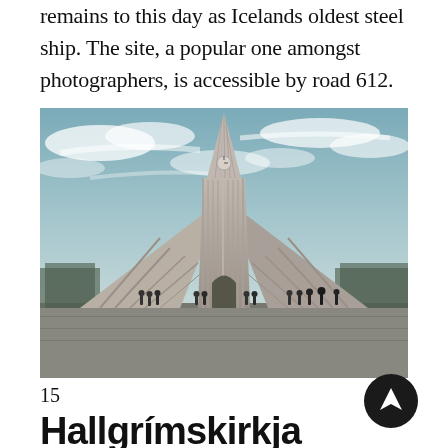remains to this day as Icelands oldest steel ship. The site, a popular one amongst photographers, is accessible by road 612.
[Figure (photo): Hallgrímskirkja church in Reykjavik, Iceland. A tall concrete Lutheran church with a distinctive stepped facade and a clock tower at the top. Many tourists stand in front of the building. The sky is partly cloudy with streaks of white clouds. The image is in a desaturated, muted tone with slight teal cast.]
15
Hallgrímskirkja